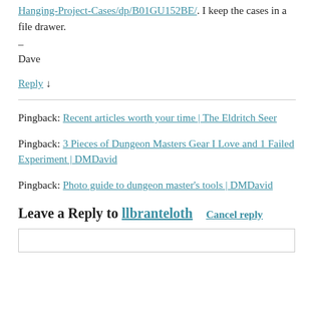Hanging-Project-Cases/dp/B01GU152BE/. I keep the cases in a file drawer.
–
Dave
Reply ↓
Pingback: Recent articles worth your time | The Eldritch Seer
Pingback: 3 Pieces of Dungeon Masters Gear I Love and 1 Failed Experiment | DMDavid
Pingback: Photo guide to dungeon master's tools | DMDavid
Leave a Reply to llbranteloth Cancel reply